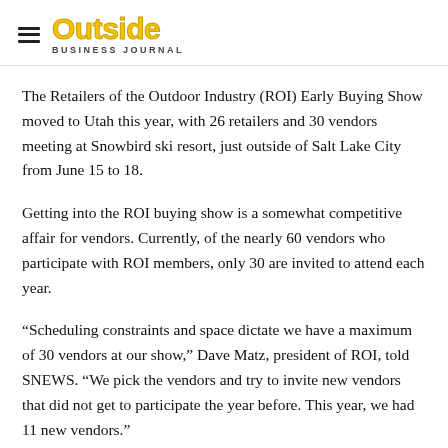Outside Business Journal
The Retailers of the Outdoor Industry (ROI) Early Buying Show moved to Utah this year, with 26 retailers and 30 vendors meeting at Snowbird ski resort, just outside of Salt Lake City from June 15 to 18.
Getting into the ROI buying show is a somewhat competitive affair for vendors. Currently, of the nearly 60 vendors who participate with ROI members, only 30 are invited to attend each year.
“Scheduling constraints and space dictate we have a maximum of 30 vendors at our show,” Dave Matz, president of ROI, told SNEWS. “We pick the vendors and try to invite new vendors that did not get to participate the year before. This year, we had 11 new vendors.”